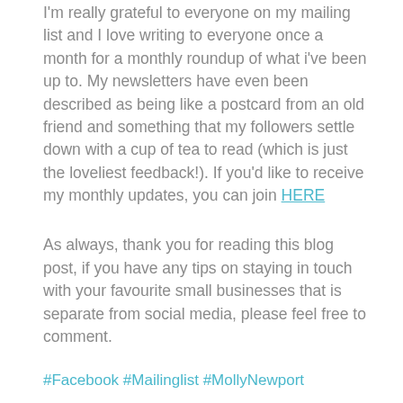I'm really grateful to everyone on my mailing list and I love writing to everyone once a month for a monthly roundup of what i've been up to. My newsletters have even been described as being like a postcard from an old friend and something that my followers settle down with a cup of tea to read (which is just the loveliest feedback!). If you'd like to receive my monthly updates, you can join HERE
As always, thank you for reading this blog post, if you have any tips on staying in touch with your favourite small businesses that is separate from social media, please feel free to comment.
#Facebook #Mailinglist #MollyNewport